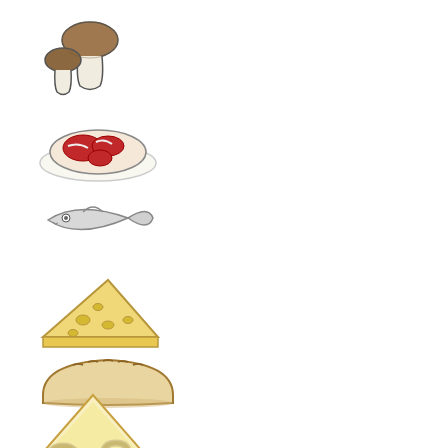[Figure (illustration): Drawing of two mushrooms (porcini style), brown caps on white stems]
[Figure (illustration): Drawing of a raw meat steak with red oval marbling on a white plate]
[Figure (illustration): Drawing of a simple fish outline, light gray with a small eye and tail]
[Figure (illustration): Drawing of a wedge of Swiss cheese with holes, yellow-beige color]
[Figure (illustration): Drawing of a bread loaf, oval shape, beige with scored top]
[Figure (illustration): Drawing of a slice of pie or pizza, triangular, yellow with crust]
[Figure (illustration): Drawing of pasta pieces (macaroni/elbow shapes), beige/cream colored]